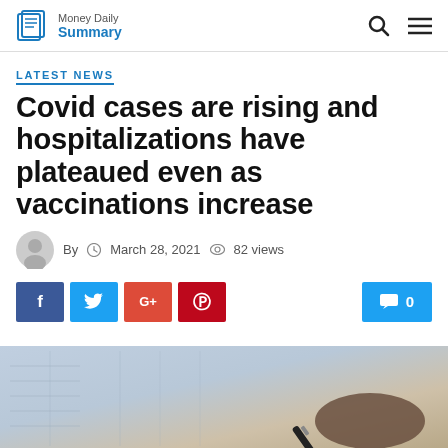Money Daily Summary
LATEST NEWS
Covid cases are rising and hospitalizations have plateaued even as vaccinations increase
By  March 28, 2021  82 views
[Figure (other): Social sharing buttons: Facebook, Twitter, Google+, Pinterest, and a comment count button showing 0 comments]
[Figure (photo): Blurred close-up photo of a person's hand writing with a pen on a document or calendar]